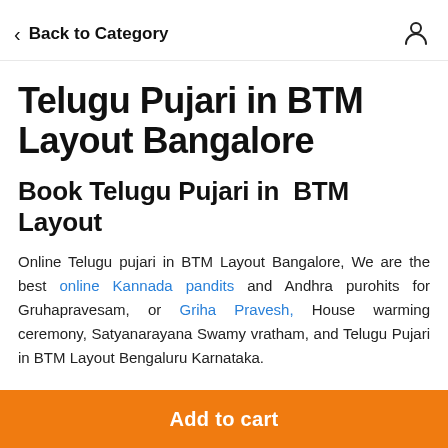Back to Category
Telugu Pujari in BTM Layout Bangalore
Book Telugu Pujari in  BTM Layout
Online Telugu pujari in BTM Layout Bangalore, We are the best online Kannada pandits and Andhra purohits for Gruhapravesam, or Griha Pravesh, House warming ceremony, Satyanarayana Swamy vratham, and Telugu Pujari in BTM Layout Bengaluru Karnataka.
Add to cart